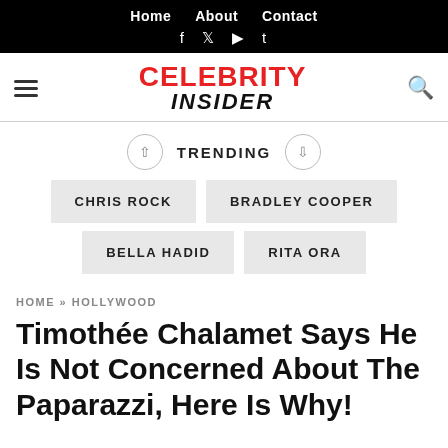Home   About   Contact
f  t  ▶  t
[Figure (logo): Celebrity Insider logo with hamburger menu and search icon]
TRENDING
CHRIS ROCK
BRADLEY COOPER
BELLA HADID
RITA ORA
HOME » HOLLYWOOD
Timothée Chalamet Says He Is Not Concerned About The Paparazzi, Here Is Why!